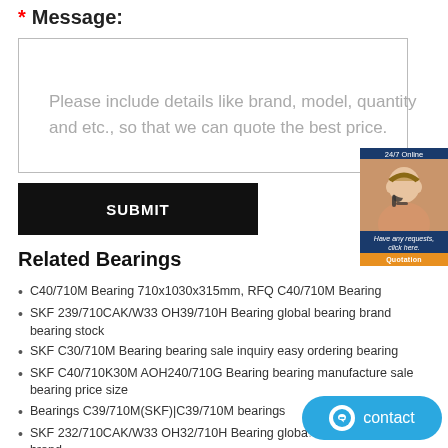* Message:
Please include details like brand, model, quantity and etc., so that we can quote the best price.
SUBMIT
[Figure (photo): Customer service representative chat widget with '24/7 Online' label, photo of woman with headset, italic text 'Have any requests, click here.' and orange 'Quotation' button]
Related Bearings
C40/710M Bearing 710x1030x315mm, RFQ C40/710M Bearing
SKF 239/710CAK/W33 OH39/710H Bearing global bearing brand bearing stock
SKF C30/710M Bearing bearing sale inquiry easy ordering bearing
SKF C40/710K30M AOH240/710G Bearing bearing manufacture sale bearing price size
Bearings C39/710M(SKF)|C39/710M bearings
SKF 232/710CAK/W33 OH32/710H Bearing global bearing brand
SKF C40/710K30M+AOH240/710G bearings Comoros|C40/710K30M
[Figure (other): Blue contact bubble button with smiley/chat icon and 'contact' text]